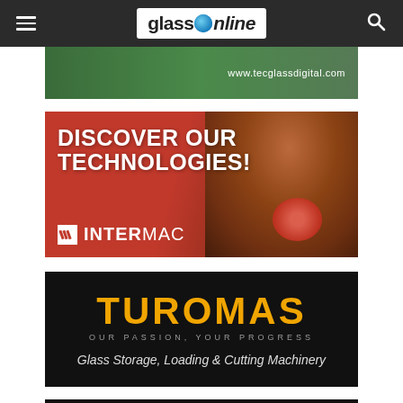glassOnline
[Figure (photo): Top advertisement banner with green background and URL www.tecglassdigital.com]
[Figure (photo): Intermac advertisement: DISCOVER OUR TECHNOLOGIES! with red background and industrial machinery image showing suction cup tool]
[Figure (photo): Turomas advertisement: black background with orange TUROMAS text, tagline OUR PASSION, YOUR PROGRESS, and description Glass Storage, Loading & Cutting Machinery]
[Figure (photo): Bottom partial advertisement with dark background]